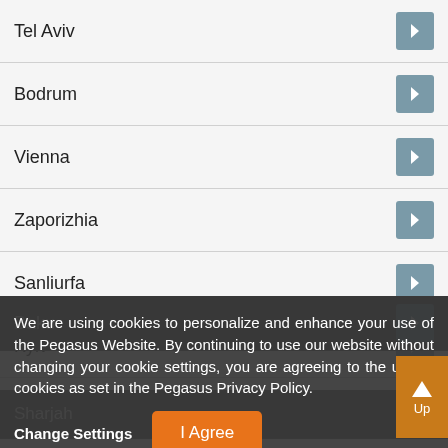Tel Aviv
Bodrum
Vienna
Zaporizhia
Sanliurfa
Kyiv
Baku
Sharjah
Dammam
Venice
We are using cookies to personalize and enhance your use of the Pegasus Website. By continuing to use our website without changing your cookie settings, you are agreeing to the use of cookies as set in the Pegasus Privacy Policy.
Change Settings
I Agree